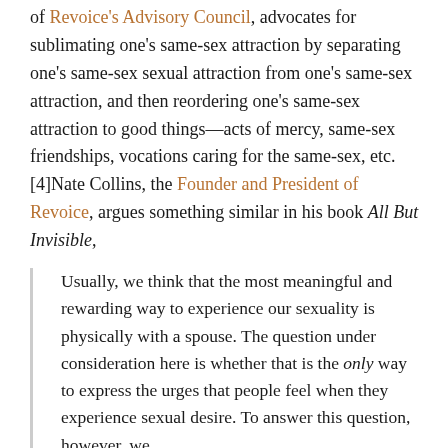of Revoice's Advisory Council, advocates for sublimating one's same-sex attraction by separating one's same-sex sexual attraction from one's same-sex attraction, and then reordering one's same-sex attraction to good things—acts of mercy, same-sex friendships, vocations caring for the same-sex, etc. [4]Nate Collins, the Founder and President of Revoice, argues something similar in his book All But Invisible,
Usually, we think that the most meaningful and rewarding way to experience our sexuality is physically with a spouse. The question under consideration here is whether that is the only way to express the urges that people feel when they experience sexual desire. To answer this question, however, we